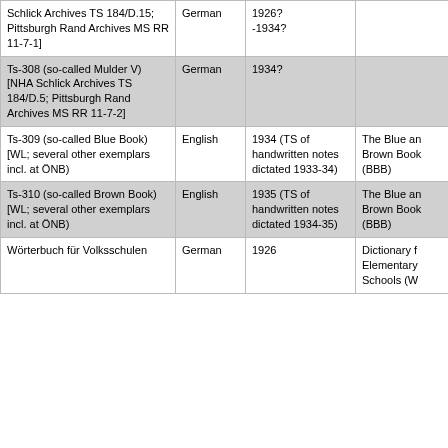| Source | Language | Date | Published as |
| --- | --- | --- | --- |
| Schlick Archives TS 184/D.15; Pittsburgh Rand Archives MS RR 11-7-1] | German | 1926?
-1934? |  |
| Ts-308 (so-called Mulder V) [NHA Schlick Archives TS 184/D.5; Pittsburgh Rand Archives MS RR 11-7-2] | German | 1934? |  |
| Ts-309 (so-called Blue Book) [WL; several other exemplars incl. at ÖNB) | English | 1934 (TS of handwritten notes dictated 1933-34) | The Blue and Brown Book (BBB) |
| Ts-310 (so-called Brown Book) [WL; several other exemplars incl. at ÖNB) | English | 1935 (TS of handwritten notes dictated 1934-35) | The Blue and Brown Book (BBB) |
| Wörterbuch für Volksschulen | German | 1926 | Dictionary for Elementary Schools (W |